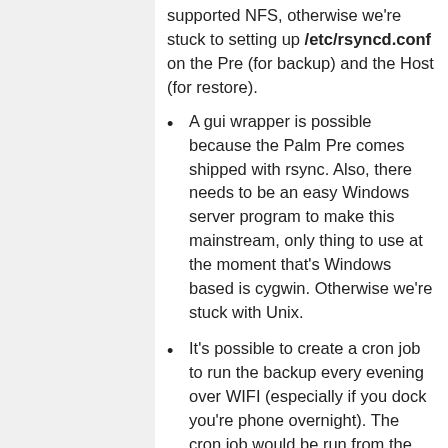supported NFS, otherwise we're stuck to setting up /etc/rsyncd.conf on the Pre (for backup) and the Host (for restore).
A gui wrapper is possible because the Palm Pre comes shipped with rsync. Also, there needs to be an easy Windows server program to make this mainstream, only thing to use at the moment that's Windows based is cygwin. Otherwise we're stuck with Unix.
It's possible to create a cron job to run the backup every evening over WIFI (especially if you dock you're phone overnight). The cron job would be run from the Host computer. It's also recommended to set up iptables for allowing port 873 only for the host on the interface eth0 or usb0.